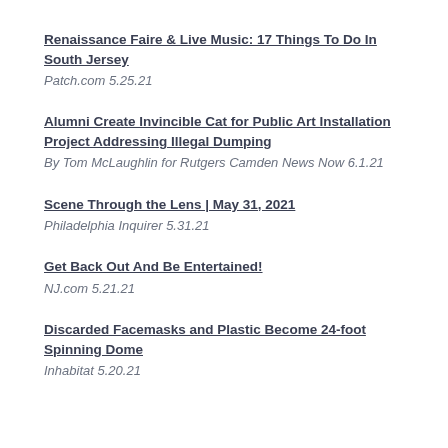Renaissance Faire & Live Music: 17 Things To Do In South Jersey
Patch.com 5.25.21
Alumni Create Invincible Cat for Public Art Installation Project Addressing Illegal Dumping
By Tom McLaughlin for Rutgers Camden News Now 6.1.21
Scene Through the Lens | May 31, 2021
Philadelphia Inquirer 5.31.21
Get Back Out And Be Entertained!
NJ.com 5.21.21
Discarded Facemasks and Plastic Become 24-foot Spinning Dome
Inhabitat 5.20.21